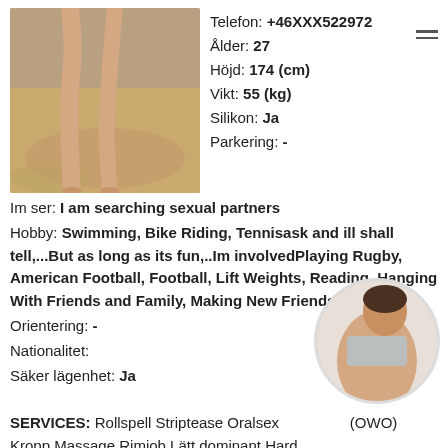[Figure (photo): Photo of person's legs on sandy beach/ground]
Telefon: +46XXX522972
Ålder: 27
Höjd: 174 (cm)
Vikt: 55 (kg)
Silikon: Ja
Parkering: -
Im ser: I am searching sexual partners
Hobby: Swimming, Bike Riding, Tennisask and ill shall tell,...But as long as its fun,..Im involvedPlaying Rugby, American Football, Football, Lift Weights, Reading, Hanging With Friends and Family, Making New Friends.
Orientering: -
Nationalitet:
Säker lägenhet: Ja
[Figure (photo): Circular thumbnail photo of a person]
SERVICES: Rollspell Striptease Oralsex (OWO) Kropp Massage Rimjob Lätt dominant Hard